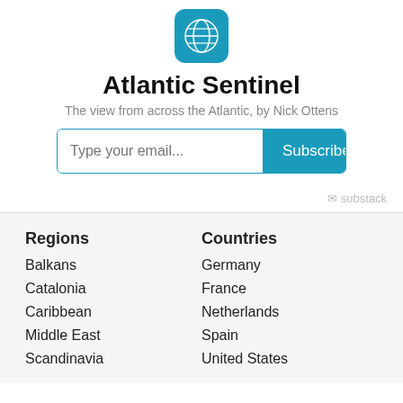[Figure (logo): Blue rounded square icon with a white globe/world map illustration]
Atlantic Sentinel
The view from across the Atlantic, by Nick Ottens
[Figure (other): Email subscription form with 'Type your email...' placeholder input and a blue 'Subscribe' button]
substack
Regions
Balkans
Catalonia
Caribbean
Middle East
Scandinavia
Countries
Germany
France
Netherlands
Spain
United States